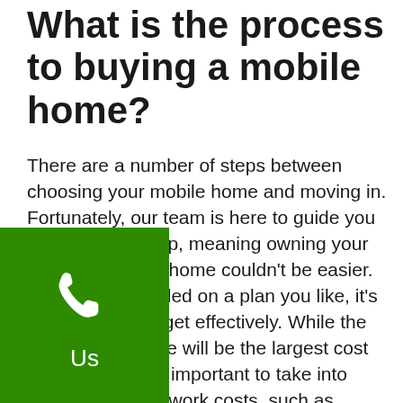What is the process to buying a mobile home?
There are a number of steps between choosing your mobile home and moving in. Fortunately, our team is here to guide you through each step, meaning owning your very own mobile home couldn’t be easier. Once you’ve settled on a plan you like, it’s important to budget effectively. While the cost of your home will be the largest cost involved, its also important to take into account any site work costs, such as connecting your home to the city water and sewage. Paying for your home used to be a long drawn out …t with our unique ‘Construction …ogram, you can set up a plan and get …as little as 3 days. After that, site …egin, and you’ll be on your way to
[Figure (other): Green square badge with white telephone/phone icon and label 'Us' below it]